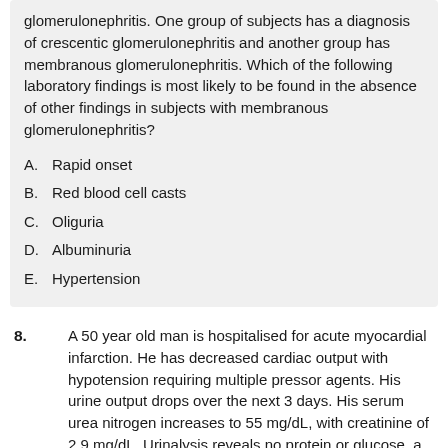glomerulonephritis. One group of subjects has a diagnosis of crescentic glomerulonephritis and another group has membranous glomerulonephritis. Which of the following laboratory findings is most likely to be found in the absence of other findings in subjects with membranous glomerulonephritis?
A. Rapid onset
B. Red blood cell casts
C. Oliguria
D. Albuminuria
E. Hypertension
8. A 50 year old man is hospitalised for acute myocardial infarction. He has decreased cardiac output with hypotension requiring multiple pressor agents. His urine output drops over the next 3 days. His serum urea nitrogen increases to 55 mg/dL, with creatinine of 2.9 mg/dL. Urinalysis reveals no protein or glucose, a trace blood, and numerous hyaline casts. Five days later, he develops polyuria and his serum urea nitrogen declines. Which of the following